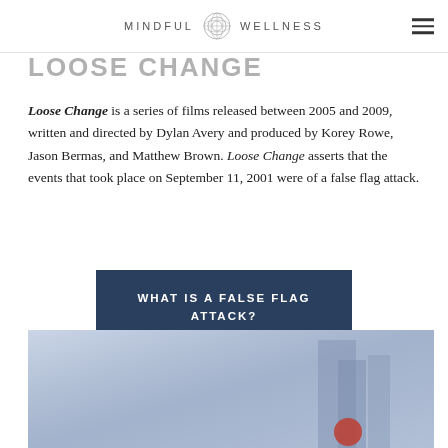MINDFUL WELLNESS
LOOSE CHANGE
Loose Change is a series of films released between 2005 and 2009, written and directed by Dylan Avery and produced by Korey Rowe, Jason Bermas, and Matthew Brown. Loose Change asserts that the events that took place on September 11, 2001 were of a false flag attack.
WHAT IS A FALSE FLAG ATTACK?
[Figure (photo): Hazy blue-toned photo showing buildings or towers with smoke, a red circular element visible at the bottom right]